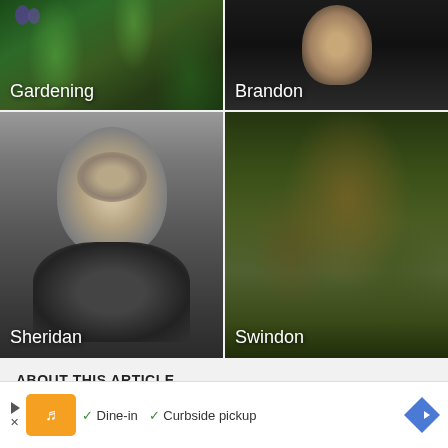[Figure (photo): Grid of four images: top-left is a gardening photo with plants/flowers labeled 'Gardening', top-right is a dark portrait photo labeled 'Brandon', bottom-left is a black and white portrait of Sheridan labeled 'Sheridan', bottom-right is a mystical forest/tree face image labeled 'Swindon']
ABOUT THIS ARTICLE
Hobhouse, Penelope 1929–
Updated   About encyclopedia.com content